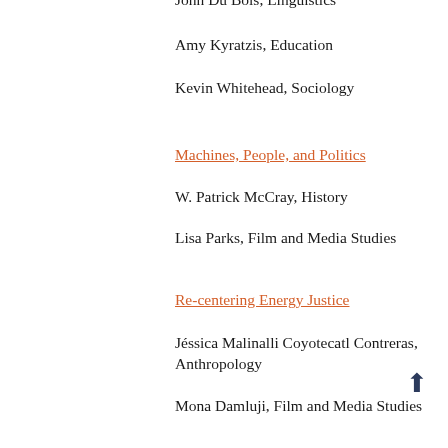John Du Bois, Linguistics
Amy Kyratzis, Education
Kevin Whitehead, Sociology
Machines, People, and Politics
W. Patrick McCray, History
Lisa Parks, Film and Media Studies
Re-centering Energy Justice
Jéssica Malinalli Coyotecatl Contreras, Anthropology
Mona Damluji, Film and Media Studies
Reimaginings: Developing Creative Critical Writing Practices
Felice Blake, English
Vickie Vertiz, Writing Program